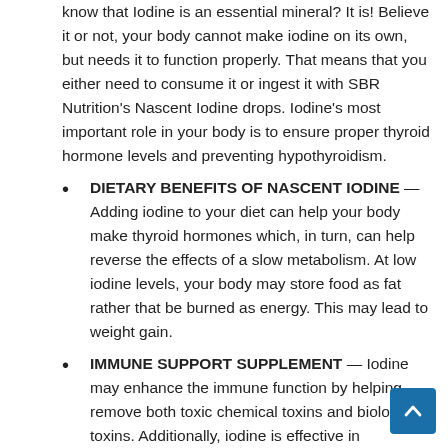know that Iodine is an essential mineral? It is! Believe it or not, your body cannot make iodine on its own, but needs it to function properly. That means that you either need to consume it or ingest it with SBR Nutrition's Nascent Iodine drops. Iodine's most important role in your body is to ensure proper thyroid hormone levels and preventing hypothyroidism.
DIETARY BENEFITS OF NASCENT IODINE — Adding iodine to your diet can help your body make thyroid hormones which, in turn, can help reverse the effects of a slow metabolism. At low iodine levels, your body may store food as fat rather that be burned as energy. This may lead to weight gain.
IMMUNE SUPPORT SUPPLEMENT — Iodine may enhance the immune function by helping remove both toxic chemical toxins and biological toxins. Additionally, iodine is effective in